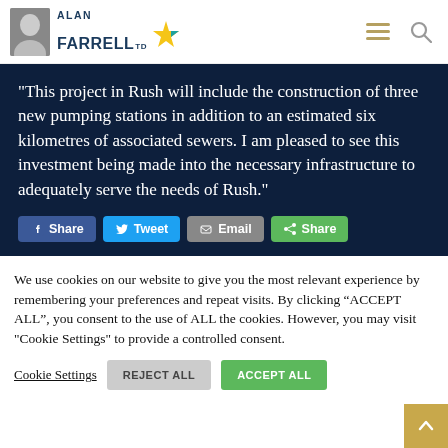Alan Farrell TD
“This project in Rush will include the construction of three new pumping stations in addition to an estimated six kilometres of associated sewers. I am pleased to see this investment being made into the necessary infrastructure to adequately serve the needs of Rush.”
We use cookies on our website to give you the most relevant experience by remembering your preferences and repeat visits. By clicking “ACCEPT ALL”, you consent to the use of ALL the cookies. However, you may visit "Cookie Settings" to provide a controlled consent.
Cookie Settings | REJECT ALL | ACCEPT ALL